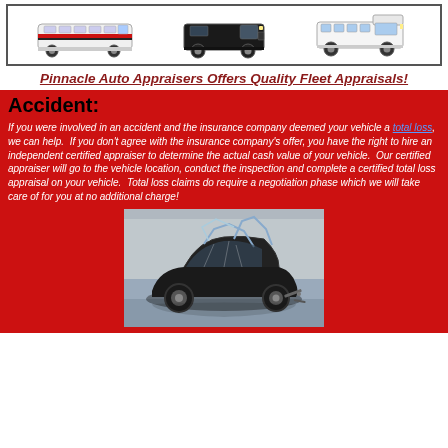[Figure (photo): Three commercial vehicles side by side: a full-size motorcoach bus on left, a black cargo van in center, and a smaller white shuttle bus/motorhome on right, shown inside a bordered box.]
Pinnacle Auto Appraisers Offers Quality Fleet Appraisals!
Accident:
If you were involved in an accident and the insurance company deemed your vehicle a total loss, we can help. If you don't agree with the insurance company's offer, you have the right to hire an independent certified appraiser to determine the actual cash value of your vehicle. Our certified appraiser will go to the vehicle location, conduct the inspection and complete a certified total loss appraisal on your vehicle. Total loss claims do require a negotiation phase which we will take care of for you at no additional charge!
[Figure (photo): A badly damaged black sports car (severely crushed roof and body) photographed outdoors, shown as an example of a total loss accident vehicle.]